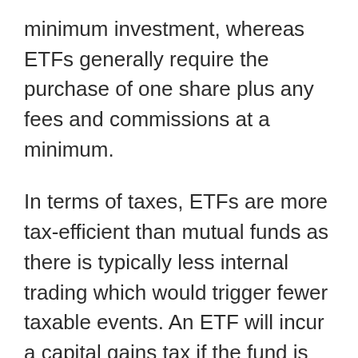minimum investment, whereas ETFs generally require the purchase of one share plus any fees and commissions at a minimum.
In terms of taxes, ETFs are more tax-efficient than mutual funds as there is typically less internal trading which would trigger fewer taxable events. An ETF will incur a capital gains tax if the fund is sold outright.
For mutual funds, buying and selling the assets within the fund will trigger a capital gains tax. The capital gains tax from the sale of assets is paid out to every investor who